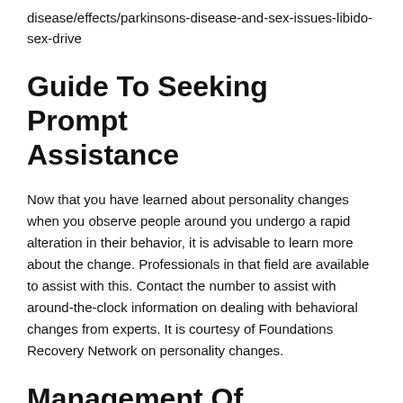disease/effects/parkinsons-disease-and-sex-issues-libido-sex-drive
Guide To Seeking Prompt Assistance
Now that you have learned about personality changes when you observe people around you undergo a rapid alteration in their behavior, it is advisable to learn more about the change. Professionals in that field are available to assist with this. Contact the number to assist with around-the-clock information on dealing with behavioral changes from experts. It is courtesy of Foundations Recovery Network on personality changes.
Management Of Personality